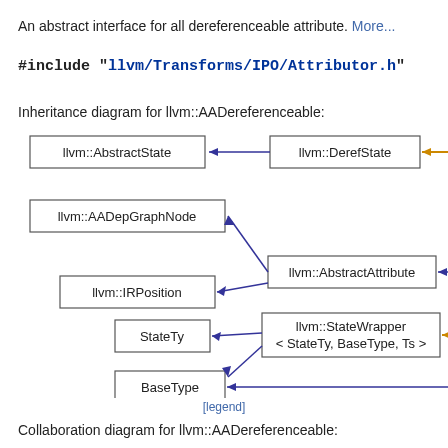An abstract interface for all dereferenceable attribute. More...
#include "llvm/Transforms/IPO/Attributor.h"
Inheritance diagram for llvm::AADereferenceable:
[Figure (engineering-diagram): Inheritance diagram showing llvm::AbstractState, llvm::DerefState, llvm::AADepGraphNode, llvm::IRPosition, llvm::AbstractAttribute, llvm::StateTy, llvm::StateWrapper < StateTy, BaseType, Ts >, llvm::BaseType nodes with arrows indicating inheritance relationships. An orange arrow points into llvm::StateWrapper from the right.]
[legend]
Collaboration diagram for llvm::AADereferenceable: